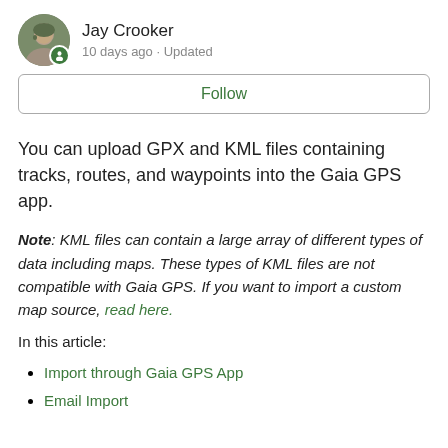Jay Crooker
10 days ago · Updated
Follow
You can upload GPX and KML files containing tracks, routes, and waypoints into the Gaia GPS app.
Note: KML files can contain a large array of different types of data including maps. These types of KML files are not compatible with Gaia GPS. If you want to import a custom map source, read here.
In this article:
Import through Gaia GPS App
Email Import